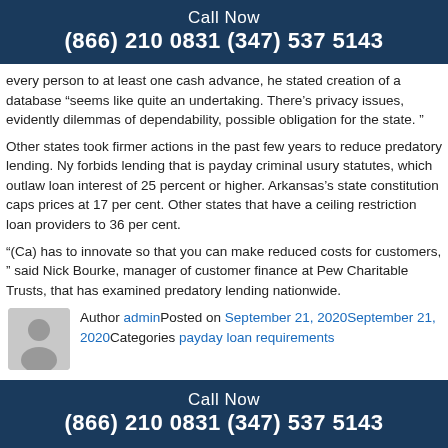Call Now
(866) 210 0831 (347) 537 5143
every person to at least one cash advance, he stated creation of a database “seems like quite an undertaking. There’s privacy issues, evidently dilemmas of dependability, possible obligation for the state. ”
Other states took firmer actions in the past few years to reduce predatory lending. Ny forbids lending that is payday criminal usury statutes, which outlaw loan interest of 25 percent or higher. Arkansas’s state constitution caps prices at 17 per cent. Other states that have a ceiling restriction loan providers to 36 per cent.
“(Ca) has to innovate so that you can make reduced costs for customers, ” said Nick Bourke, manager of customer finance at Pew Charitable Trusts, that has examined predatory lending nationwide.
Author adminPosted on September 21, 2020September 21, 2020Categories payday loan requirements
Call Now
(866) 210 0831 (347) 537 5143